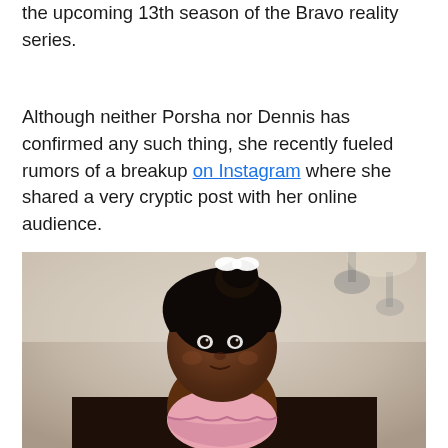the upcoming 13th season of the Bravo reality series.
Although neither Porsha nor Dennis has confirmed any such thing, she recently fueled rumors of a breakup on Instagram where she shared a very cryptic post with her online audience.
[Figure (photo): A young toddler girl with dark curly hair pulled up with a white bow hair tie, wearing a pink ruffled top, looking to the side. She appears to be held by an adult visible from the shoulder. Background shows an indoor setting with pendant lights.]